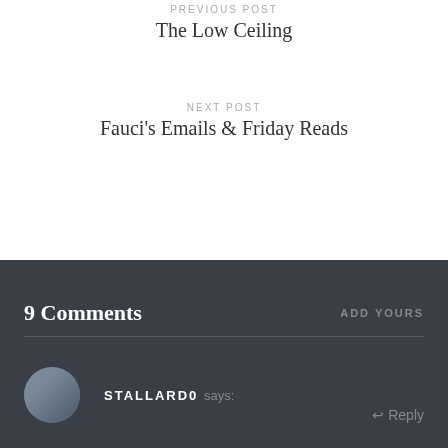PREVIOUS POST
The Low Ceiling
NEXT POST
Fauci's Emails & Friday Reads
9 Comments
ADD YOURS
STALLARD0 says:
Reply